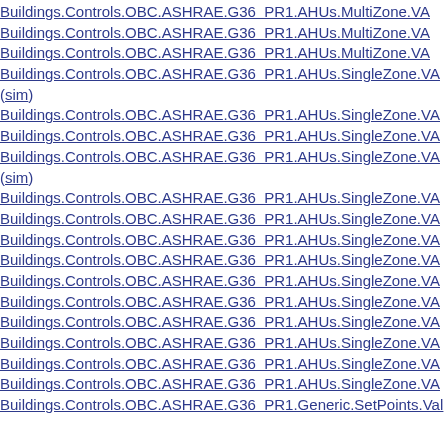Buildings.Controls.OBC.ASHRAE.G36 PR1.AHUs.MultiZone.VA
Buildings.Controls.OBC.ASHRAE.G36 PR1.AHUs.MultiZone.VA
Buildings.Controls.OBC.ASHRAE.G36 PR1.AHUs.MultiZone.VA
Buildings.Controls.OBC.ASHRAE.G36 PR1.AHUs.SingleZone.VA (sim)
Buildings.Controls.OBC.ASHRAE.G36 PR1.AHUs.SingleZone.VA
Buildings.Controls.OBC.ASHRAE.G36 PR1.AHUs.SingleZone.VA
Buildings.Controls.OBC.ASHRAE.G36 PR1.AHUs.SingleZone.VA (sim)
Buildings.Controls.OBC.ASHRAE.G36 PR1.AHUs.SingleZone.VA
Buildings.Controls.OBC.ASHRAE.G36 PR1.AHUs.SingleZone.VA
Buildings.Controls.OBC.ASHRAE.G36 PR1.AHUs.SingleZone.VA
Buildings.Controls.OBC.ASHRAE.G36 PR1.AHUs.SingleZone.VA
Buildings.Controls.OBC.ASHRAE.G36 PR1.AHUs.SingleZone.VA
Buildings.Controls.OBC.ASHRAE.G36 PR1.AHUs.SingleZone.VA
Buildings.Controls.OBC.ASHRAE.G36 PR1.AHUs.SingleZone.VA
Buildings.Controls.OBC.ASHRAE.G36 PR1.AHUs.SingleZone.VA
Buildings.Controls.OBC.ASHRAE.G36 PR1.AHUs.SingleZone.VA
Buildings.Controls.OBC.ASHRAE.G36 PR1.AHUs.SingleZone.VA
Buildings.Controls.OBC.ASHRAE.G36 PR1.AHUs.SingleZone.VA
Buildings.Controls.OBC.ASHRAE.G36 PR1.Generic.SetPoints.Val